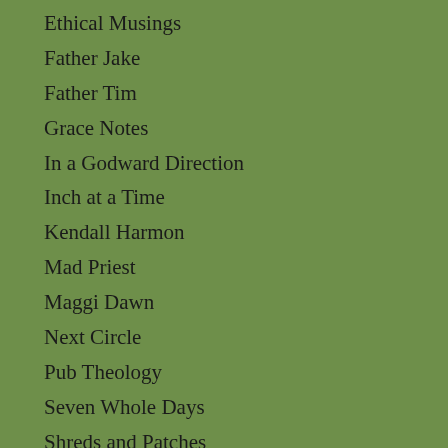Ethical Musings
Father Jake
Father Tim
Grace Notes
In a Godward Direction
Inch at a Time
Kendall Harmon
Mad Priest
Maggi Dawn
Next Circle
Pub Theology
Seven Whole Days
Shreds and Patches